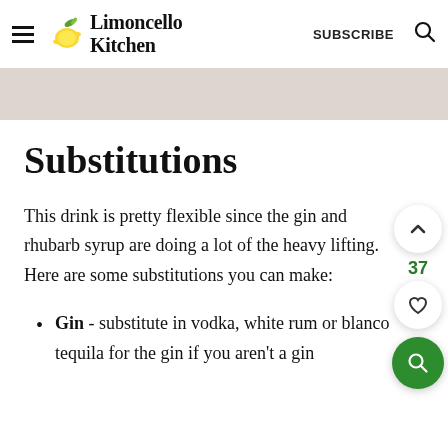Limoncello Kitchen — SUBSCRIBE
[Figure (photo): Partial photo of a drink/food item on a light speckled surface, cropped at top]
Substitutions
This drink is pretty flexible since the gin and rhubarb syrup are doing a lot of the heavy lifting. Here are some substitutions you can make:
Gin - substitute in vodka, white rum or blanco tequila for the gin if you aren't a gin